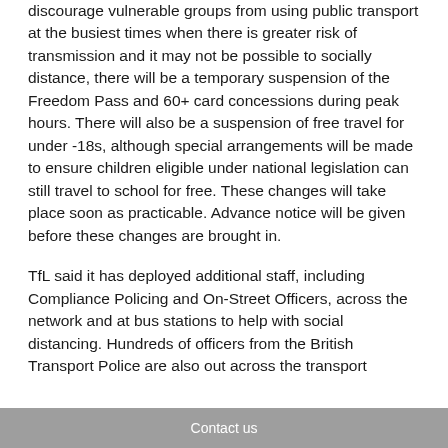discourage vulnerable groups from using public transport at the busiest times when there is greater risk of transmission and it may not be possible to socially distance, there will be a temporary suspension of the Freedom Pass and 60+ card concessions during peak hours. There will also be a suspension of free travel for under -18s, although special arrangements will be made to ensure children eligible under national legislation can still travel to school for free. These changes will take place soon as practicable. Advance notice will be given before these changes are brought in.
TfL said it has deployed additional staff, including Compliance Policing and On-Street Officers, across the network and at bus stations to help with social distancing. Hundreds of officers from the British Transport Police are also out across the transport
Contact us